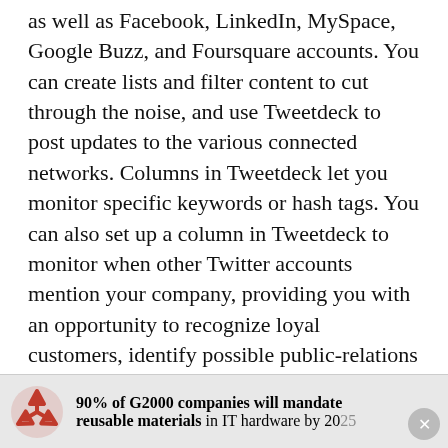as well as Facebook, LinkedIn, MySpace, Google Buzz, and Foursquare accounts. You can create lists and filter content to cut through the noise, and use Tweetdeck to post updates to the various connected networks. Columns in Tweetdeck let you monitor specific keywords or hash tags. You can also set up a column in Tweetdeck to monitor when other Twitter accounts mention your company, providing you with an opportunity to recognize loyal customers, identify possible public-relations issues, and put out fires quickly.
Tweetdeck lets you schedule tweets to post in advance, but Flowtown's Timely goes a step further. It analyzes your past tweets to estimate what time of
90% of G2000 companies will mandate reusable materials in IT hardware by 2025